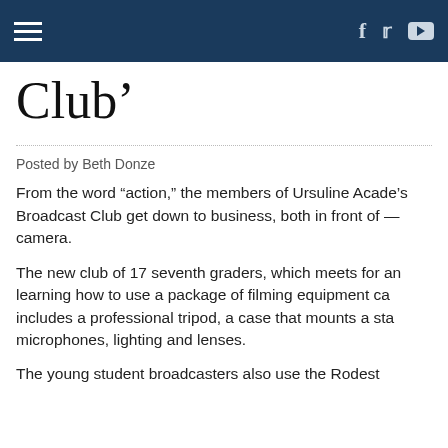Navigation header with hamburger menu and social icons (Facebook, Twitter, YouTube)
Club'
Posted by Beth Donze
From the word “action,” the members of Ursuline Acade’s Broadcast Club get down to business, both in front of — camera.
The new club of 17 seventh graders, which meets for an… learning how to use a package of filming equipment ca… includes a professional tripod, a case that mounts a sta… microphones, lighting and lenses.
The young student broadcasters also use the Rode… to…